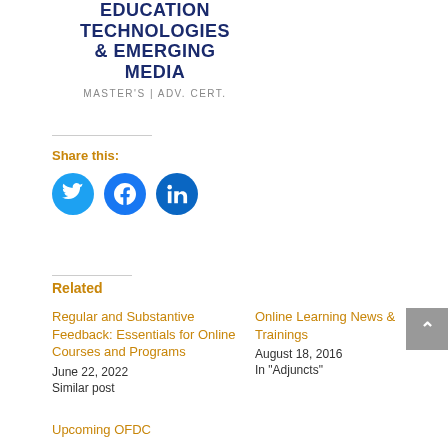EDUCATION TECHNOLOGIES & EMERGING MEDIA
MASTER'S | ADV. CERT.
Share this:
[Figure (infographic): Three social media share buttons: Twitter (light blue circle with bird icon), Facebook (blue circle with f icon), LinkedIn (dark blue circle with 'in' icon)]
Related
Regular and Substantive Feedback: Essentials for Online Courses and Programs
June 22, 2022
Similar post
Online Learning News & Trainings
August 18, 2016
In "Adjuncts"
Upcoming OFDC